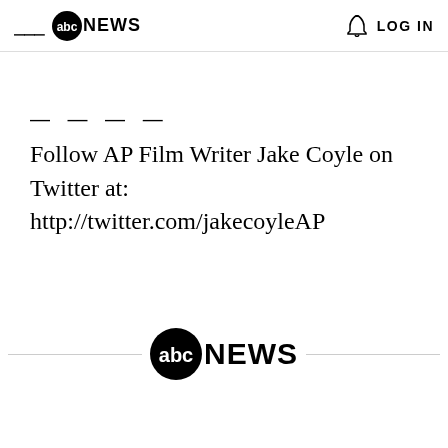abc NEWS | LOG IN
————
Follow AP Film Writer Jake Coyle on Twitter at: http://twitter.com/jakecoyleAP
[Figure (logo): ABC News logo with circle containing 'abc' and bold text 'NEWS' with horizontal lines on either side]